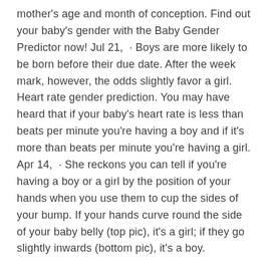mother's age and month of conception. Find out your baby's gender with the Baby Gender Predictor now! Jul 21, · Boys are more likely to be born before their due date. After the week mark, however, the odds slightly favor a girl. Heart rate gender prediction. You may have heard that if your baby's heart rate is less than beats per minute you're having a boy and if it's more than beats per minute you're having a girl. Apr 14, · She reckons you can tell if you're having a boy or a girl by the position of your hands when you use them to cup the sides of your bump. If your hands curve round the side of your baby belly (top pic), it's a girl; if they go slightly inwards (bottom pic), it's a boy.
Now, of course, there are much more accurate ways to determine gender before a baby is born. If you're at least 12 weeks pregnant, your doctor can probably tell. One of the most exciting parts of pregnancy is trying to figure